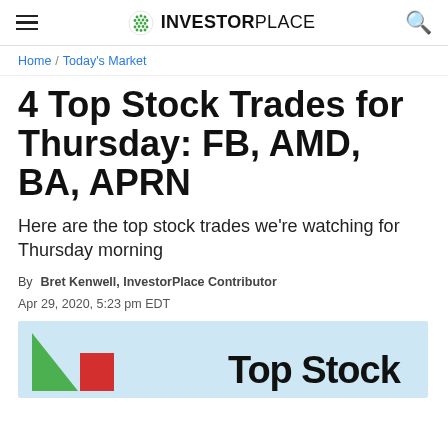InvestorPlace
Home / Today's Market
4 Top Stock Trades for Thursday: FB, AMD, BA, APRN
Here are the top stock trades we're watching for Thursday morning
By Bret Kenwell, InvestorPlace Contributor  Apr 29, 2020, 5:23 pm EDT
[Figure (illustration): Stock trading illustration with green triangle and red rectangle on light blue background, with 'Top Stock' text]